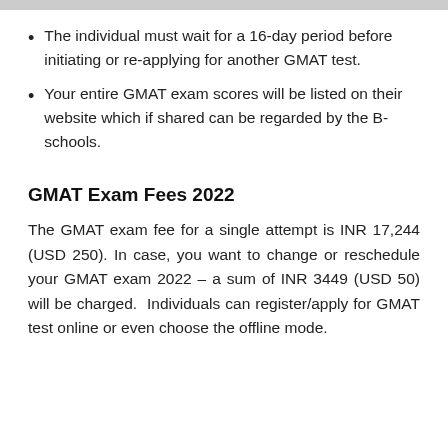The individual must wait for a 16-day period before initiating or re-applying for another GMAT test.
Your entire GMAT exam scores will be listed on their website which if shared can be regarded by the B-schools.
GMAT Exam Fees 2022
The GMAT exam fee for a single attempt is INR 17,244 (USD 250). In case, you want to change or reschedule your GMAT exam 2022 – a sum of INR 3449 (USD 50) will be charged. Individuals can register/apply for GMAT test online or even choose the offline mode.